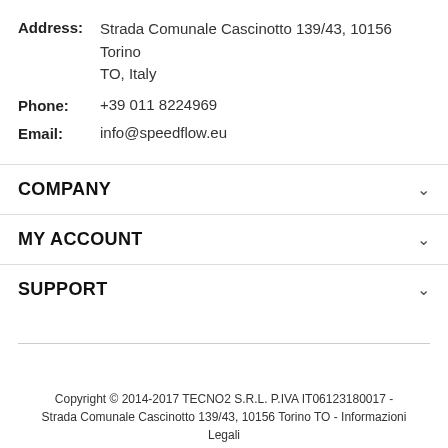Address: Strada Comunale Cascinotto 139/43, 10156 Torino TO, Italy
Phone: +39 011 8224969
Email: info@speedflow.eu
COMPANY
MY ACCOUNT
SUPPORT
Copyright © 2014-2017 TECNO2 S.R.L. P.IVA IT06123180017 - Strada Comunale Cascinotto 139/43, 10156 Torino TO - Informazioni Legali